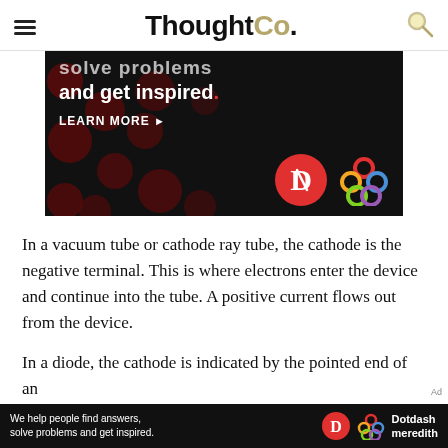ThoughtCo.
[Figure (other): Advertisement banner with dark background, polka dots, text 'and get inspired.' and 'LEARN MORE', with Dotdash and Meredith logos]
In a vacuum tube or cathode ray tube, the cathode is the negative terminal. This is where electrons enter the device and continue into the tube. A positive current flows out from the device.
In a diode, the cathode is indicated by the pointed end of an
[Figure (other): Bottom advertisement bar: 'We help people find answers, solve problems and get inspired.' with Dotdash Meredith logo]